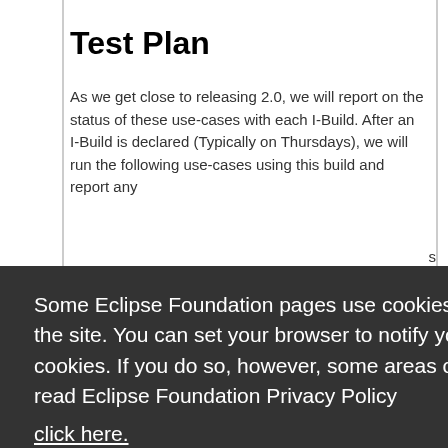Test Plan
As we get close to releasing 2.0, we will report on the status of these use-cases with each I-Build. After an I-Build is declared (Typically on Thursdays), we will run the following use-cases using this build and report any
Some Eclipse Foundation pages use cookies to better serve you when you return to the site. You can set your browser to notify you before you receive a cookie or turn off cookies. If you do so, however, some areas of some sites may not function properly. To read Eclipse Foundation Privacy Policy
click here.
Decline
Allow cookies
MyFaces1.1.5, TOPLink Essentials, and Apache